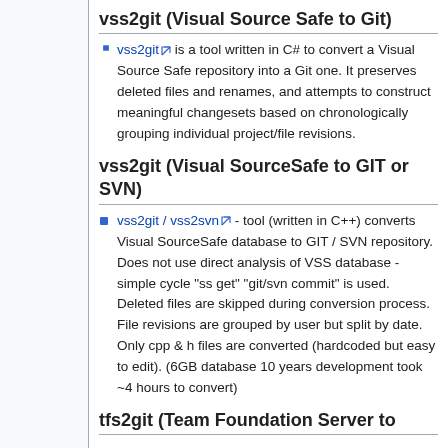vss2git (Visual Source Safe to Git)
vss2git is a tool written in C# to convert a Visual Source Safe repository into a Git one. It preserves deleted files and renames, and attempts to construct meaningful changesets based on chronologically grouping individual project/file revisions.
vss2git (Visual SourceSafe to GIT or SVN)
vss2git / vss2svn - tool (written in C++) converts Visual SourceSafe database to GIT / SVN repository. Does not use direct analysis of VSS database - simple cycle "ss get" "git/svn commit" is used. Deleted files are skipped during conversion process. File revisions are grouped by user but split by date. Only cpp & h files are converted (hardcoded but easy to edit). (6GB database 10 years development took ~4 hours to convert)
tfs2git (Team Foundation Server to